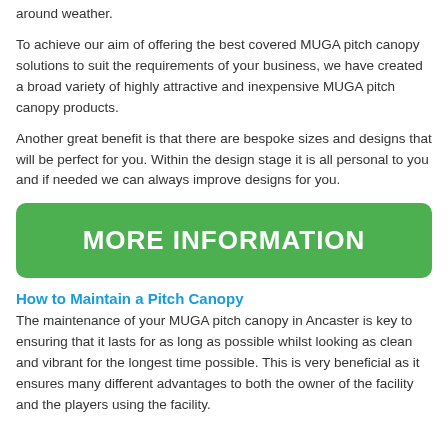around weather.
To achieve our aim of offering the best covered MUGA pitch canopy solutions to suit the requirements of your business, we have created a broad variety of highly attractive and inexpensive MUGA pitch canopy products.
Another great benefit is that there are bespoke sizes and designs that will be perfect for you. Within the design stage it is all personal to you and if needed we can always improve designs for you.
[Figure (other): Green button with white bold text reading MORE INFORMATION]
How to Maintain a Pitch Canopy
The maintenance of your MUGA pitch canopy in Ancaster is key to ensuring that it lasts for as long as possible whilst looking as clean and vibrant for the longest time possible. This is very beneficial as it ensures many different advantages to both the owner of the facility and the players using the facility.